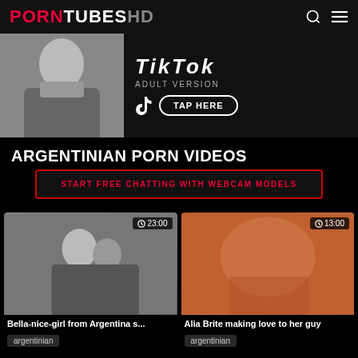PORNTUBES HD
[Figure (photo): TikTok Adult Version advertisement banner with person image on left and TikTok logo, ADULT VERSION text, and TAP HERE button on right]
ARGENTINIAN PORN VIDEOS
START FREE CHATTING WITH WEBCAM MODELS
[Figure (photo): Video thumbnail: couple kissing in black and white, duration badge 23:00]
Bella-nice-girl from Argentina s...
argentinian
[Figure (photo): Video thumbnail: woman in lingerie, duration badge 13:00]
Alia Brite making love to her guy
argentinian